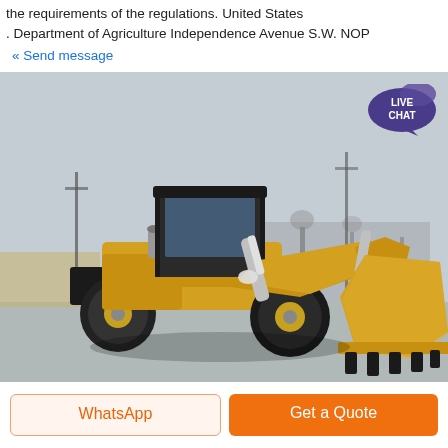the requirements of the regulations. United States . Department of Agriculture Independence Avenue S.W. NOP
« Send message
[Figure (photo): A yellow compact front-end wheel loader with bucket raised, parked on a concrete surface with industrial buildings and bare trees in the background. A 'LIVE CHAT' speech bubble badge is overlaid in the upper right corner.]
WhatsApp
Get a Quote